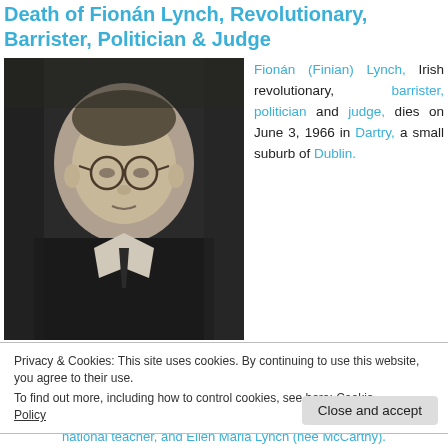Death of Fionán Lynch, Revolutionary, Barrister, Politician & Judge
[Figure (photo): Black and white portrait photograph of Fionán Lynch, a man with round wire-rimmed glasses wearing a dark suit and tie, shown from roughly the chest up in a three-quarter pose.]
Fionán (Finian) Lynch, Irish revolutionary, barrister, politician and judge, dies on June 3, 1966 in Dartry, a small suburb of Dublin.
Privacy & Cookies: This site uses cookies. By continuing to use this website, you agree to their use.
To find out more, including how to control cookies, see here: Cookie Policy
national teacher, and Ellen Maria Lynch (nee McCarthy).